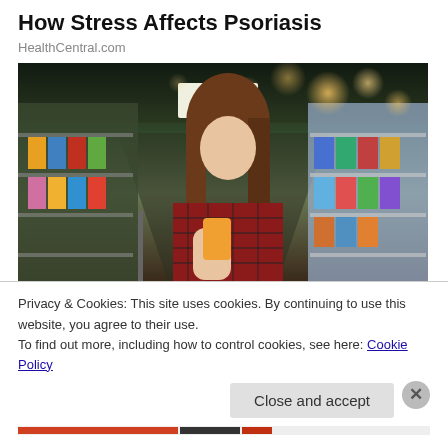How Stress Affects Psoriasis
HealthCentral.com
[Figure (photo): Woman in a red plaid shirt reading a product label while standing in a store aisle with shelves of products on both sides. Bokeh lighting visible in the background.]
Privacy & Cookies: This site uses cookies. By continuing to use this website, you agree to their use.
To find out more, including how to control cookies, see here: Cookie Policy
Close and accept